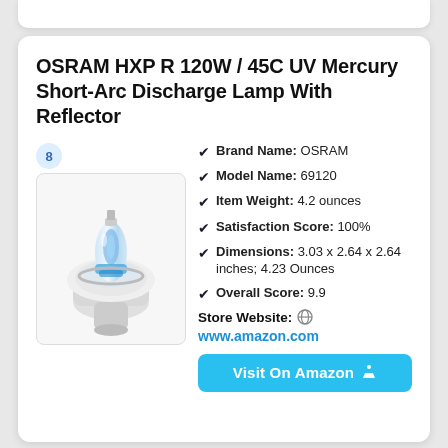OSRAM HXP R 120W / 45C UV Mercury Short-Arc Discharge Lamp With Reflector
[Figure (photo): Photo of OSRAM HXP R 120W lamp with reflector - a mercury short-arc discharge lamp showing blue/white glass arc tube with white reflector housing]
Brand Name: OSRAM
Model Name: 69120
Item Weight: 4.2 ounces
Satisfaction Score: 100%
Dimensions: 3.03 x 2.64 x 2.64 inches; 4.23 Ounces
Overall Score: 9.9
Store Website: 🔗
www.amazon.com
Visit On Amazon 🛒